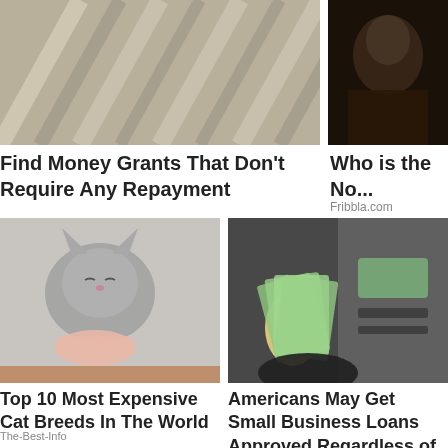[Figure (photo): Aerial view of diagonal lines or structures, grayscale/sepia tone]
[Figure (photo): Dark photo of a person, partial view, dark background]
Find Money Grants That Don't Require Any Repayment
Loans USA / Search Ads
Click Here
Who is the No...
Fribbla.com
[Figure (photo): Gray British Shorthair cat being pet by a human hand, eyes closed, content expression]
[Figure (photo): Hand holding a fan of US dollar bills in front of an ATM machine]
Top 10 Most Expensive Cat Breeds In The World
The-Best-Info
Americans May Get Small Business Loans Approved Regardless of Credit